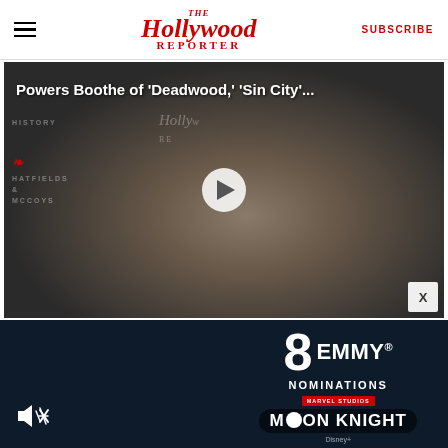The Hollywood Reporter — SUBSCRIBE
[Figure (screenshot): Video thumbnail showing Powers Boothe at a Hollywood Reporter event, with play button overlay. Title text: 'Powers Boothe of 'Deadwood,' 'Sin City'...']
[Figure (screenshot): Advertisement banner: '8 EMMY NOMINATIONS — MOON KNIGHT' on dark navy background with Disney+ branding]